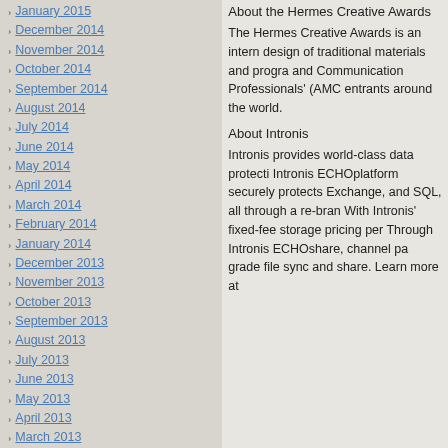January 2015
December 2014
November 2014
October 2014
September 2014
August 2014
July 2014
June 2014
May 2014
April 2014
March 2014
February 2014
January 2014
December 2013
November 2013
October 2013
September 2013
August 2013
July 2013
June 2013
May 2013
April 2013
March 2013
February 2013
January 2013
December 2012
November 2012
October 2012
September 2012
August 2012
July 2012
June 2012
About the Hermes Creative Awards
The Hermes Creative Awards is an intern design of traditional materials and progra and Communication Professionals' (AMC entrants around the world.
About Intronis
Intronis provides world-class data protecti Intronis ECHOplatform securely protects Exchange, and SQL, all through a re-bran With Intronis' fixed-fee storage pricing per Through Intronis ECHOshare, channel pa grade file sync and share. Learn more at